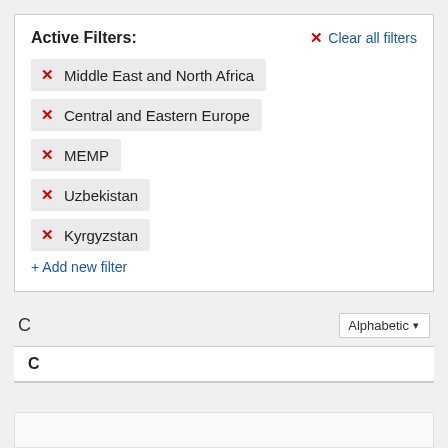Active Filters:
✕  Clear all filters
✕  Middle East and North Africa
✕  Central and Eastern Europe
✕  MEMP
✕  Uzbekistan
✕  Kyrgyzstan
+ Add new filter
C
Alphabetic▾
C